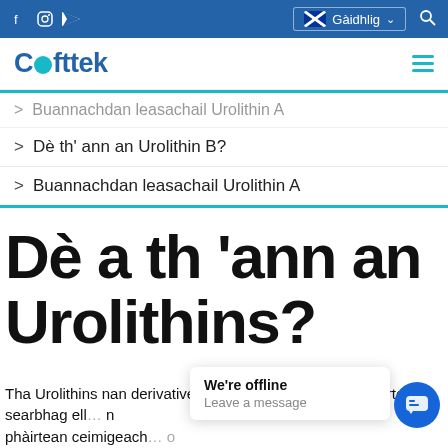Cofttek — Gàidhlig navigation bar with social icons
> Buannachdan leasachail Urolithin A
> Dè th' ann an Urolithin B?
> Buannachdan leasachail Urolithin A
Dè a th 'ann an Urolithins?
Tha Urolithins nan derivatives no metabolites de cho-phàirtean searbhag ell phàirtean ceimigeach searbhag ellagic leis an gut microbiota. (1)